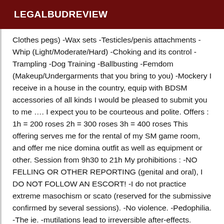LEGALBUDREVIEW
Clothes pegs) -Wax sets -Testicles/penis attachments -Whip (Light/Moderate/Hard) -Choking and its control -Trampling -Dog Training -Ballbusting -Femdom (Makeup/Undergarments that you bring to you) -Mockery I receive in a house in the country, equip with BDSM accessories of all kinds I would be pleased to submit you to me …. I expect you to be courteous and polite. Offers : 1h = 200 roses 2h = 300 roses 3h = 400 roses This offering serves me for the rental of my SM game room, and offer me nice domina outfit as well as equipment or other. Session from 9h30 to 21h My prohibitions : -NO FELLING OR OTHER REPORTING (genital and oral), I DO NOT FOLLOW AN ESCORT! -I do not practice extreme masochism or scato (reserved for the submissive confirmed by several sessions). -No violence. -Pedophilia. -The ie. -mutilations lead to irreversible after-effects. Contact : Preferably get in touch with me by email: - Present Me your research